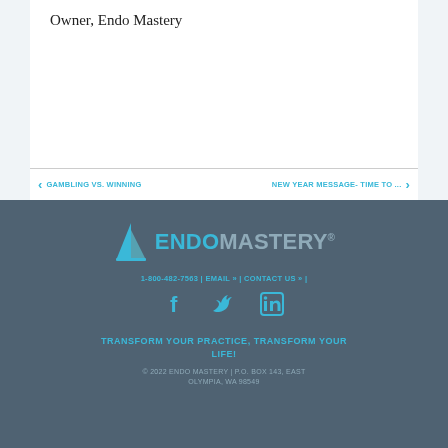Owner, Endo Mastery
GAMBLING VS. WINNING
NEW YEAR MESSAGE- TIME TO ...
[Figure (logo): Endo Mastery logo with sail icon and registered trademark]
1-800-482-7563 | EMAIL » | CONTACT US » |
[Figure (other): Social media icons: Facebook, Twitter, LinkedIn]
TRANSFORM YOUR PRACTICE, TRANSFORM YOUR LIFE!
© 2022 ENDO MASTERY | P.O. BOX 143, EAST OLYMPIA, WA 98549